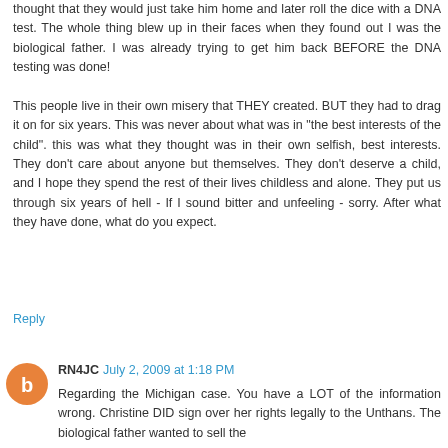thought that they would just take him home and later roll the dice with a DNA test. The whole thing blew up in their faces when they found out I was the biological father. I was already trying to get him back BEFORE the DNA testing was done!
This people live in their own misery that THEY created. BUT they had to drag it on for six years. This was never about what was in "the best interests of the child". this was what they thought was in their own selfish, best interests. They don't care about anyone but themselves. They don't deserve a child, and I hope they spend the rest of their lives childless and alone. They put us through six years of hell - If I sound bitter and unfeeling - sorry. After what they have done, what do you expect.
Reply
RN4JC July 2, 2009 at 1:18 PM
Regarding the Michigan case. You have a LOT of the information wrong. Christine DID sign over her rights legally to the Unthans. The biological father wanted to sell the